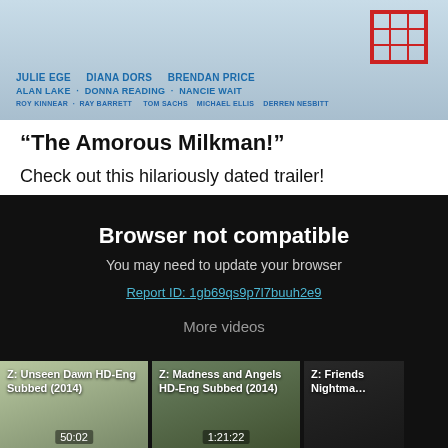[Figure (photo): Movie poster for 'The Amorous Milkman' showing cast credits: Julie Ege, Diana Dors, Brendan Price, Alan Lake, Donna Reading, Nancie Wait, Roy Kinnear, Ray Barrett, Tom Sachs, Michael Ellis, Derren Nesbitt. Red grid box visible top right.]
“The Amorous Milkman!”
Check out this hilariously dated trailer!
[Figure (screenshot): Video player showing 'Browser not compatible' message with text 'You may need to update your browser' and a Report ID link: 1gb69qs9p7l7buuh2e9. Below shows 'More videos' section with three thumbnails: 'Z: Unseen Dawn HD-Eng Subbed (2014)', 'Z: Madness and Angels HD-Eng Subbed (2014)', 'Z: Friends... Nightma...']